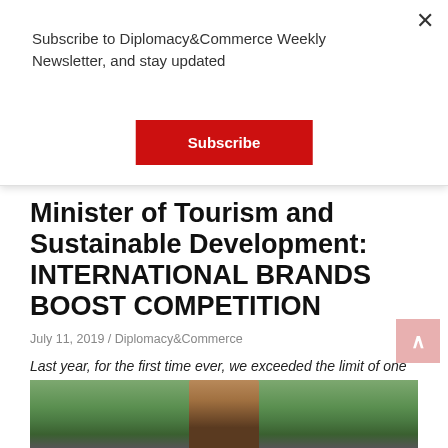Subscribe to Diplomacy&Commerce Weekly Newsletter, and stay updated
Subscribe
Minister of Tourism and Sustainable Development: INTERNATIONAL BRANDS BOOST COMPETITION
July 11, 2019 / Diplomacy&Commerce
Last year, for the first time ever, we exceeded the limit of one billion euro of tourism revenue, but we look at the moment only as a step forward
[Figure (photo): Photo of a person outdoors with green foliage and a metal railing in the background, partially visible at the bottom of the page]